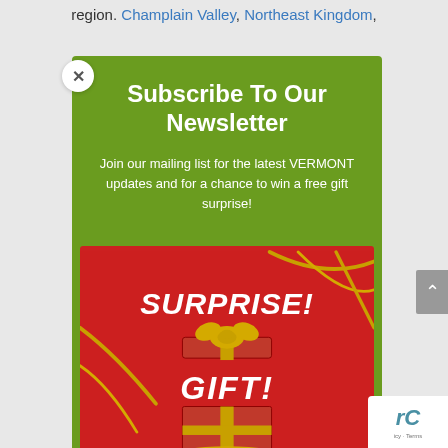region. Champlain Valley, Northeast Kingdom,
Subscribe To Our Newsletter
Join our mailing list for the latest VERMONT updates and for a chance to win a free gift surprise!
[Figure (illustration): Red gift box with gold bow and ribbon, with text SURPRISE! and GIFT! on a red background with gold ribbons]
icy - Terms